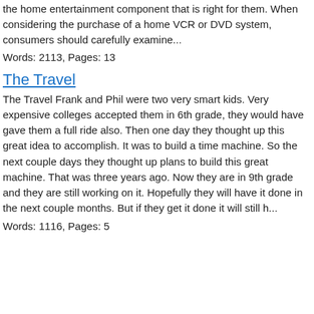the home entertainment component that is right for them. When considering the purchase of a home VCR or DVD system, consumers should carefully examine...
Words: 2113, Pages: 13
The Travel
The Travel Frank and Phil were two very smart kids. Very expensive colleges accepted them in 6th grade, they would have gave them a full ride also. Then one day they thought up this great idea to accomplish. It was to build a time machine. So the next couple days they thought up plans to build this great machine. That was three years ago. Now they are in 9th grade and they are still working on it. Hopefully they will have it done in the next couple months. But if they get it done it will still h...
Words: 1116, Pages: 5